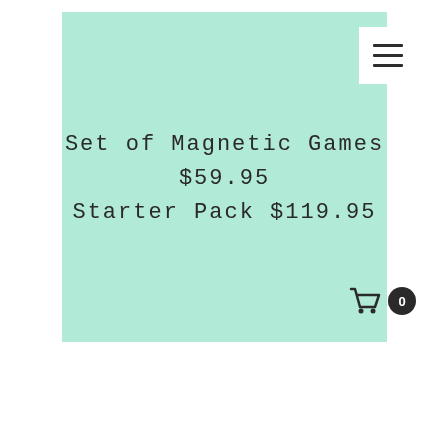[Figure (screenshot): Mint/turquoise green background box forming the main content area of a product listing page]
[Figure (other): White square hamburger menu icon with three horizontal lines in top-right of mint box]
Set of Magnetic Games
$59.95
Starter Pack $119.95
[Figure (other): Shopping cart icon with badge showing 0 items in cart]